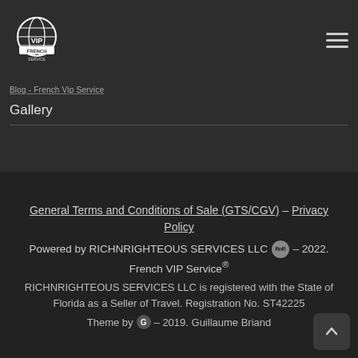[Figure (logo): French VIP Service globe logo with banner]
Blog - French Vip Service
Gallery
General Terms and Conditions of Sale (GTS/CGV) – Privacy Policy
Powered by RICHNRIGHTEOUS SERVICES LLC – 2022. French VIP Service®
RICHNRIGHTEOUS SERVICES LLC is registered with the State of Florida as a Seller of Travel. Registration No. ST42225
Theme by [G] – 2019. Guillaume Briand